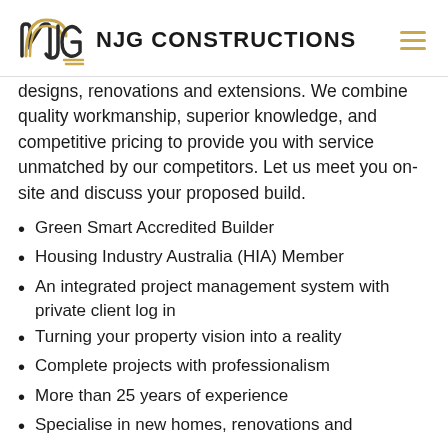NJG CONSTRUCTIONS
designs, renovations and extensions. We combine quality workmanship, superior knowledge, and competitive pricing to provide you with service unmatched by our competitors. Let us meet you on-site and discuss your proposed build.
Green Smart Accredited Builder
Housing Industry Australia (HIA) Member
An integrated project management system with private client log in
Turning your property vision into a reality
Complete projects with professionalism
More than 25 years of experience
Specialise in new homes, renovations and extensions